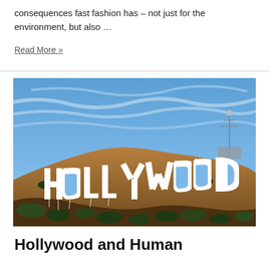consequences fast fashion has – not just for the environment, but also …
Read More »
[Figure (photo): Photograph of the Hollywood sign on a hillside under a blue sky with scattered clouds, taken from below showing the large white letters spelling HOLLYWOOD on a dry brown hill with sparse vegetation.]
Hollywood and Human